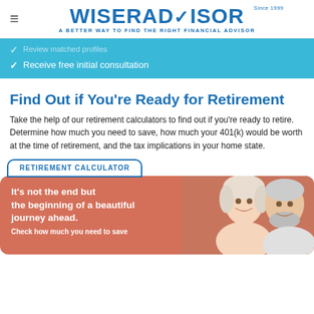WISERADVISOR — A BETTER WAY TO FIND THE RIGHT FINANCIAL ADVISOR — Since 1999
Receive free initial consultation
Find Out if You're Ready for Retirement
Take the help of our retirement calculators to find out if you're ready to retire. Determine how much you need to save, how much your 401(k) would be worth at the time of retirement, and the tax implications in your home state.
RETIREMENT CALCULATOR
[Figure (photo): Promotional retirement calculator card with salmon/terracotta background showing text 'It's not the end but the beginning of a beautiful journey ahead. Check how much you need to save.' alongside photo of smiling older couple.]